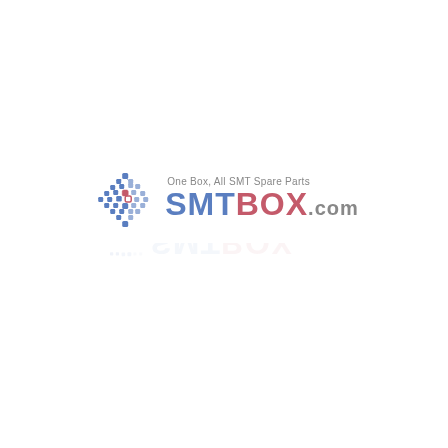[Figure (logo): SMTBOX.com logo with diamond-shaped blue dotted pattern icon on the left, tagline 'One Box, All SMT Spare Parts' above the brand name in small gray text, 'SMT' in bold blue, 'BOX' in bold red/pink, '.com' in gray, with a faint reflection below the logo. A loading spinner (partial circle arc in red/pink on white background) appears below the logo.]